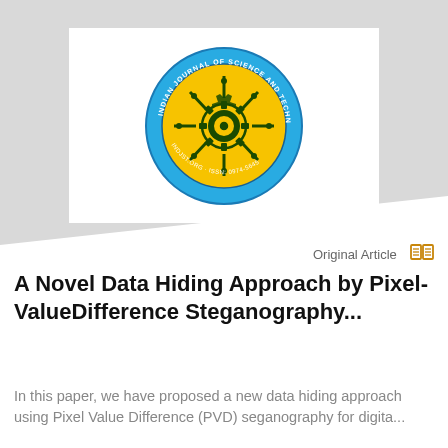[Figure (logo): Indian Journal of Science and Technology circular logo with gear and circuit design in blue and yellow colors]
Original Article
A Novel Data Hiding Approach by Pixel-ValueDifference Steganography...
In this paper, we have proposed a new data hiding approach using Pixel Value Difference (PVD) seganography for digita...